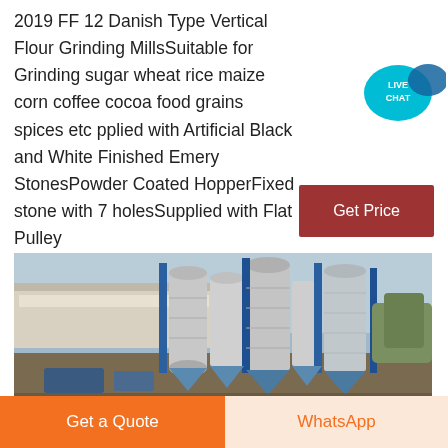2019 FF 12 Danish Type Vertical Flour Grinding MillsSuitable for Grinding sugar wheat rice maize corn coffee cocoa food grains spices etc pplied with Artificial Black and White Finished Emery StonesPowder Coated HopperFixed stone with 7 holesSupplied with Flat Pulley
[Figure (logo): Live Chat speech bubble icon in teal/blue color with text LIVE CHAT]
[Figure (other): Get Price button in dark red/maroon color]
[Figure (photo): Aerial photo of an industrial grain milling plant with blue steel silos, cylindrical tanks, conveyors, and industrial buildings]
[Figure (other): Get a Quote orange button and WhatsApp button at the bottom of the page]